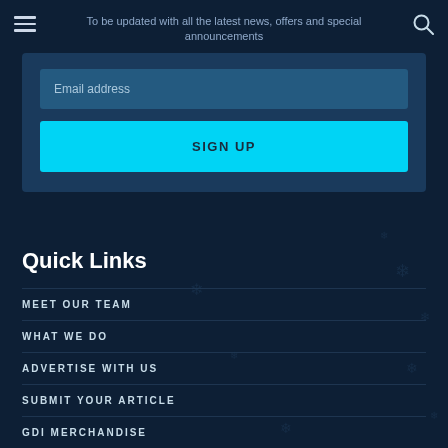To be updated with all the latest news, offers and special announcements
Email address
SIGN UP
Quick Links
MEET OUR TEAM
WHAT WE DO
ADVERTISE WITH US
SUBMIT YOUR ARTICLE
GDI MERCHANDISE